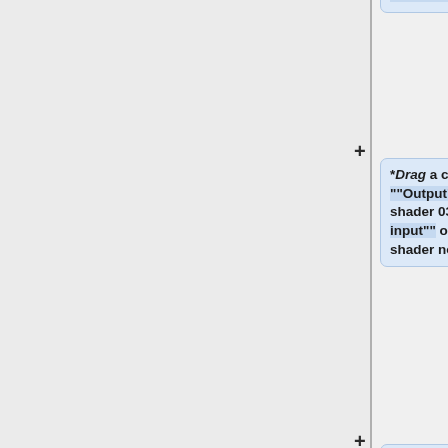""Enter"" key to add it to the project.
*""Drag"" a connection line from the ""Output"" of the Simple shape shader 03 node to the ""Main input"" of the Transform merge shader node.
* ""Drag"" a connection line from the ""Output"" of the Visualise tex coords node